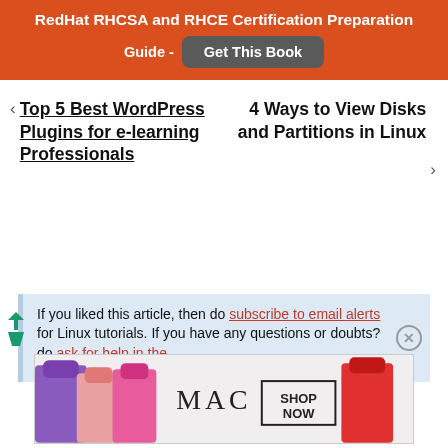RedHat RHCSA and RHCE Certification Preparation Guide - Get This Book
< Top 5 Best WordPress Plugins for e-learning Professionals
4 Ways to View Disks and Partitions in Linux >
If you liked this article, then do subscribe to email alerts for Linux tutorials. If you have any questions or doubts? do ask for help in the
[Figure (screenshot): MAC cosmetics advertisement showing lipsticks with SHOP NOW button]